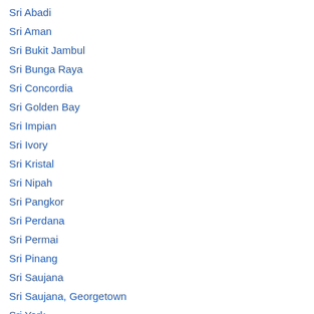Sri Abadi
Sri Aman
Sri Bukit Jambul
Sri Bunga Raya
Sri Concordia
Sri Golden Bay
Sri Impian
Sri Ivory
Sri Kristal
Sri Nipah
Sri Pangkor
Sri Perdana
Sri Permai
Sri Pinang
Sri Saujana
Sri Saujana, Georgetown
Sri York
ST Residences
Stockhill Resid...